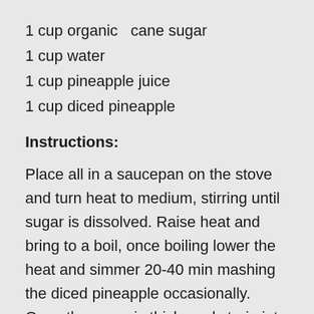1 cup organic  cane sugar
1 cup water
1 cup pineapple juice
1 cup diced pineapple
Instructions:
Place all in a saucepan on the stove and turn heat to medium, stirring until sugar is dissolved. Raise heat and bring to a boil, once boiling lower the heat and simmer 20-40 min mashing the diced pineapple occasionally. Once the syrup is thickened strain into a jar and keep refrigerated.